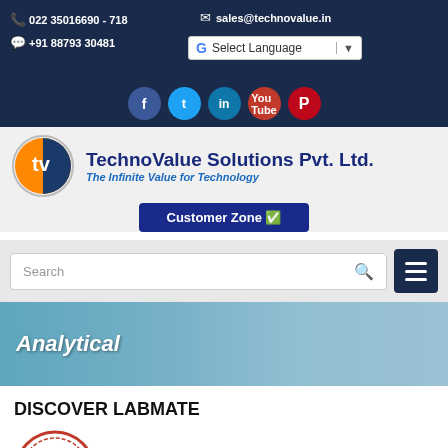022 35016690 - 718  +91 88793 30481  sales@technovalue.in
[Figure (screenshot): Social media icons: Facebook, Twitter, LinkedIn, YouTube, Pinterest]
[Figure (logo): TechnoValue Solutions Pvt. Ltd. logo with orange/blue circle icon. Tagline: The Infinite Value for Technology]
Customer Zone
Search
[Figure (photo): Banner image with laboratory analytical equipment, blue toned]
Analytical
DISCOVER LABMATE
[Figure (illustration): Authorized stamp/seal, red circular border, partially visible]